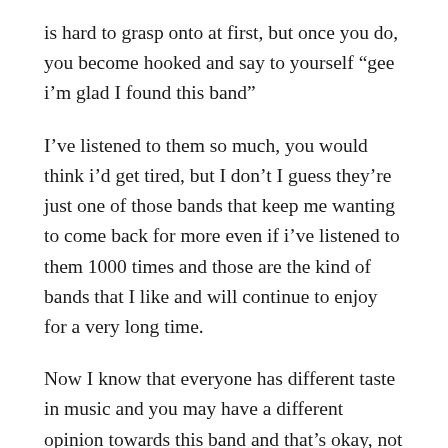is hard to grasp onto at first, but once you do, you become hooked and say to yourself “gee i’m glad I found this band”
I’ve listened to them so much, you would think i’d get tired, but I don’t I guess they’re just one of those bands that keep me wanting to come back for more even if i’ve listened to them 1000 times and those are the kind of bands that I like and will continue to enjoy for a very long time.
Now I know that everyone has different taste in music and you may have a different opinion towards this band and that’s okay, not everyone likes the same thing. I hope that you enjoyed this a bit, I just wanted